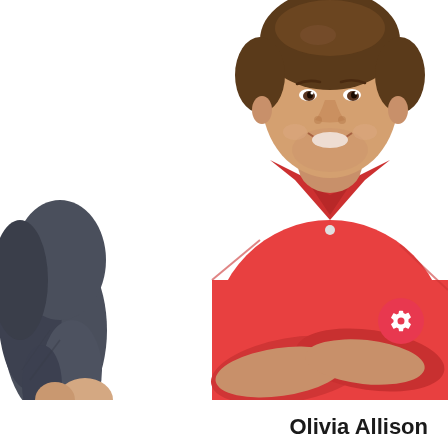[Figure (photo): Two people on white background: on the left, a partial view of a woman in dark navy/charcoal cardigan showing only her arm and side; on the right, a smiling young man with brown hair wearing a red polo shirt, arms crossed, looking at camera. A red circular settings/gear icon button overlays the bottom-right corner.]
Olivia Allison